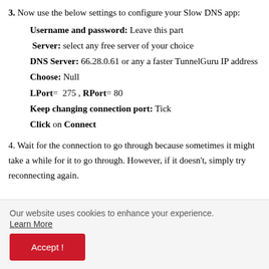3. Now use the below settings to configure your Slow DNS app:
Username and password: Leave this part
Server: select any free server of your choice
DNS Server: 66.28.0.61 or any a faster TunnelGuru IP address
Choose: Null
LPort= 275 , RPort= 80
Keep changing connection port: Tick
Click on Connect
4. Wait for the connection to go through because sometimes it might take a while for it to go through. However, if it doesn't, simply try reconnecting again.
Our website uses cookies to enhance your experience. Learn More
Accept !